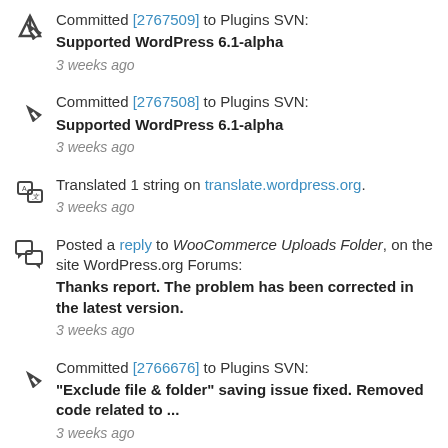Committed [2767509] to Plugins SVN: Supported WordPress 6.1-alpha 3 weeks ago
Committed [2767508] to Plugins SVN: Supported WordPress 6.1-alpha 3 weeks ago
Translated 1 string on translate.wordpress.org. 3 weeks ago
Posted a reply to WooCommerce Uploads Folder, on the site WordPress.org Forums: Thanks report. The problem has been corrected in the latest version. 3 weeks ago
Committed [2766676] to Plugins SVN: "Exclude file & folder" saving issue fixed. Removed code related to ... 3 weeks ago
Committed [2766675] to Plugins SVN: "Exclude file & folder" saving issue fixed. Removed code